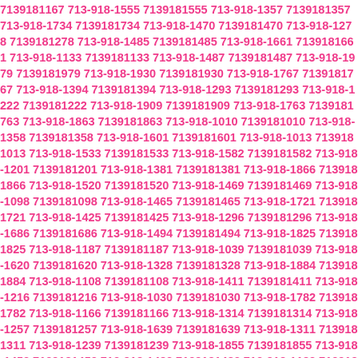7139181167 713-918-1555 7139181555 713-918-1357 7139181357 713-918-1734 7139181734 713-918-1470 7139181470 713-918-1278 7139181278 713-918-1485 7139181485 713-918-1661 7139181661 713-918-1133 7139181133 713-918-1487 7139181487 713-918-1979 7139181979 713-918-1930 7139181930 713-918-1767 7139181767 713-918-1394 7139181394 713-918-1293 7139181293 713-918-1222 7139181222 713-918-1909 7139181909 713-918-1763 7139181763 713-918-1863 7139181863 713-918-1010 7139181010 713-918-1358 7139181358 713-918-1601 7139181601 713-918-1013 7139181013 713-918-1533 7139181533 713-918-1582 7139181582 713-918-1201 7139181201 713-918-1381 7139181381 713-918-1866 7139181866 713-918-1520 7139181520 713-918-1469 7139181469 713-918-1098 7139181098 713-918-1465 7139181465 713-918-1721 7139181721 713-918-1425 7139181425 713-918-1296 7139181296 713-918-1686 7139181686 713-918-1494 7139181494 713-918-1825 7139181825 713-918-1187 7139181187 713-918-1039 7139181039 713-918-1620 7139181620 713-918-1328 7139181328 713-918-1884 7139181884 713-918-1108 7139181108 713-918-1411 7139181411 713-918-1216 7139181216 713-918-1030 7139181030 713-918-1782 7139181782 713-918-1166 7139181166 713-918-1314 7139181314 713-918-1257 7139181257 713-918-1639 7139181639 713-918-1311 7139181311 713-918-1239 7139181239 713-918-1855 7139181855 713-918-1453 7139181453 713-918-1483 7139181483 713-918-1182 7139181182 713-918-1648 7139181648 713-918-1145 7139181145 713-918-1205 7139181205 713-918-1431 7139181431 713-918-1179 7139181179